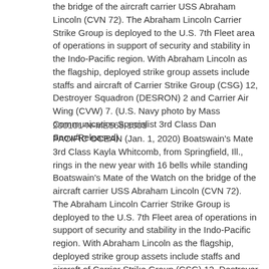the bridge of the aircraft carrier USS Abraham Lincoln (CVN 72). The Abraham Lincoln Carrier Strike Group is deployed to the U.S. 7th Fleet area of operations in support of security and stability in the Indo-Pacific region. With Abraham Lincoln as the flagship, deployed strike group assets include staffs and aircraft of Carrier Strike Group (CSG) 12, Destroyer Squadron (DESRON) 2 and Carrier Air Wing (CVW) 7. (U.S. Navy photo by Mass Communication Specialist 3rd Class Dan Snow/Released)
200101-N-ME568-1003
PACIFIC OCEAN (Jan. 1, 2020) Boatswain's Mate 3rd Class Kayla Whitcomb, from Springfield, Ill., rings in the new year with 16 bells while standing Boatswain's Mate of the Watch on the bridge of the aircraft carrier USS Abraham Lincoln (CVN 72). The Abraham Lincoln Carrier Strike Group is deployed to the U.S. 7th Fleet area of operations in support of security and stability in the Indo-Pacific region. With Abraham Lincoln as the flagship, deployed strike group assets include staffs and aircraft of Carrier Strike Group (CSG) 12, Destroyer Squadron (DESRON) 2 and Carrier Air Wing (CVW) 7. (U.S. Navy photo by Mass Communication Specialist 3rd Class Dan Snow/Released)